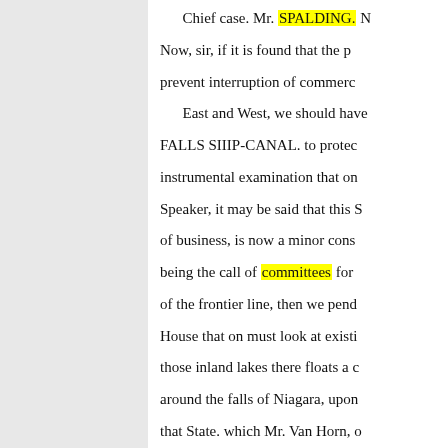Chief case. Mr. SPALDING. Now, sir, if it is found that the p... prevent interruption of commerc... East and West, we should have... FALLS SIIIP-CANAL. to protec... instrumental examination that on... Speaker, it may be said that this ... of business, is now a minor cons... being the call of committees for ... of the frontier line, then we pend... House that on must look at existi... those inland lakes there floats a c... around the falls of Niagara, upon... that State. which Mr. Van Horn, ... within that State is the New York... at once that there is on these lake... HULBURD. By an agreement be... railroad, which also does what it... year to build and fit can; and then... oc- up and strengthen fortificatio... remainder of his time.